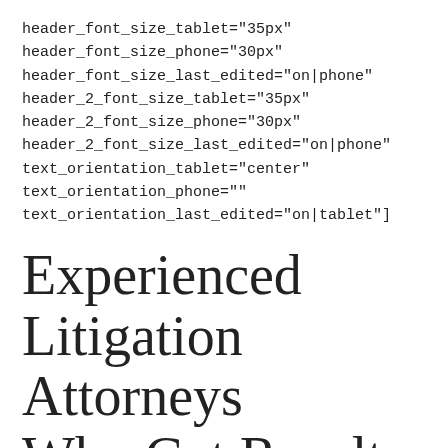header_font_size_tablet="35px"
header_font_size_phone="30px"
header_font_size_last_edited="on|phone"
header_2_font_size_tablet="35px"
header_2_font_size_phone="30px"
header_2_font_size_last_edited="on|phone"
text_orientation_tablet="center"
text_orientation_phone=""
text_orientation_last_edited="on|tablet"]
Experienced Litigation Attorneys Who Get Results